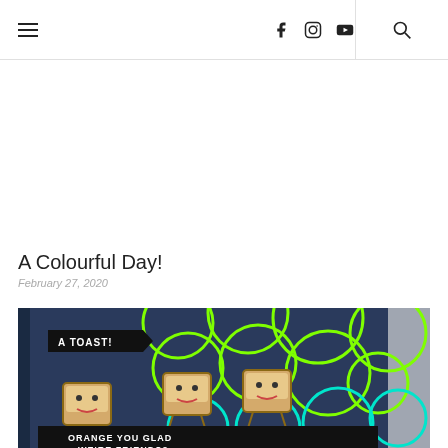Navigation header with hamburger menu, social icons (Facebook, Instagram, YouTube), divider, and search icon
A Colourful Day!
February 27, 2020
[Figure (photo): A handmade greeting card with a navy blue background featuring bright green and teal circle patterns, three cute cartoon toast characters at the bottom with happy faces, a black banner reading 'A TOAST!' near the top, and partially visible text at the bottom reading 'ORANGE YOU GLAD WE'RE FRIENDS?']